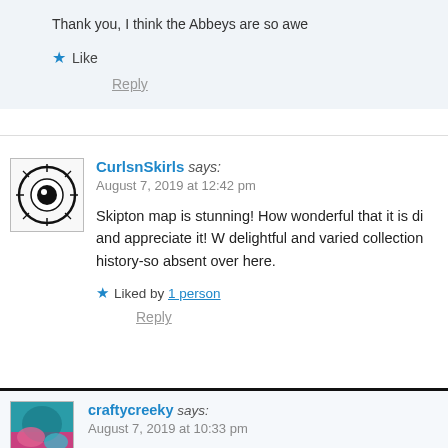Thank you, I think the Abbeys are so awe
Like
Reply
CurlsnSkirls says:
August 7, 2019 at 12:42 pm
Skipton map is stunning! How wonderful that it is di and appreciate it! W delightful and varied collection history-so absent over here.
Liked by 1 person
Reply
craftycreeky says:
August 7, 2019 at 10:33 pm